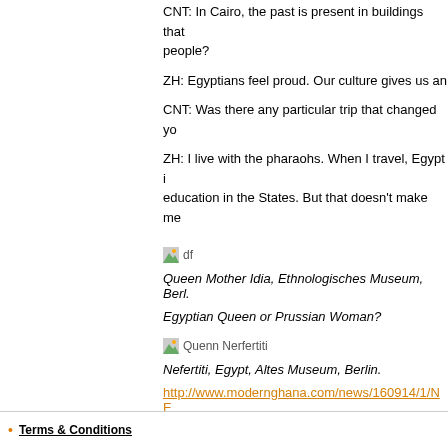CNT: In Cairo, the past is present in buildings that people?
ZH: Egyptians feel proud. Our culture gives us an
CNT: Was there any particular trip that changed yo
ZH: I live with the pharaohs. When I travel, Egypt i education in the States. But that doesn't make me
[Figure (illustration): Small thumbnail image labeled 'df']
Queen Mother Idia, Ethnologisches Museum, Berl.
Egyptian Queen or Prussian Woman?
[Figure (illustration): Small thumbnail image labeled 'Quenn Nerfertiti']
Nefertiti, Egypt, Altes Museum, Berlin.
http://www.modernghana.com/news/160914/1/NE EUROPEAN-MUSEUMS:-THE-THIN-EDGE-OF-E
Terms & Conditions